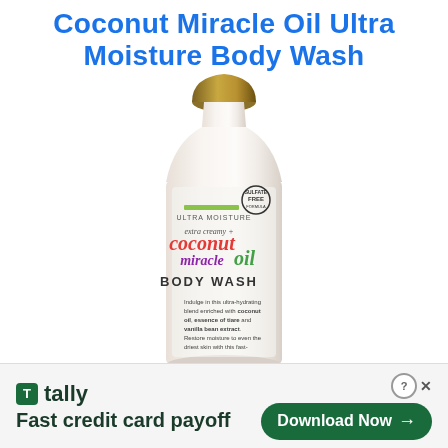Coconut Miracle Oil Ultra Moisture Body Wash
[Figure (photo): Product photo of OGX Extra Creamy + Coconut Miracle Oil Ultra Moisture Body Wash bottle. White bottle with gold cap, colorful label featuring 'extra creamy + coconut miracle oil BODY WASH' text. Includes Sulfate Free badge and product description text on the label.]
[Figure (other): Tally app advertisement banner. Green logo box with 'T', brand name 'tally', tagline 'Fast credit card payoff', and a green 'Download Now' button with arrow. Includes close and help buttons.]